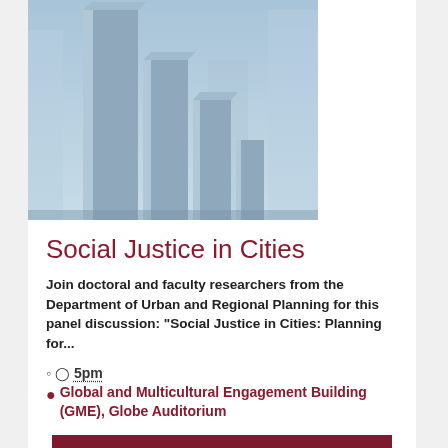[Figure (photo): 3D rendered abstract cityscape or bar chart-like columns in blue-grey tones, representing urban planning or social justice theme]
Social Justice in Cities
Join doctoral and faculty researchers from the Department of Urban and Regional Planning for this panel discussion: "Social Justice in Cities: Planning for...
5pm
Global and Multicultural Engagement Building (GME), Globe Auditorium
I'm Interested